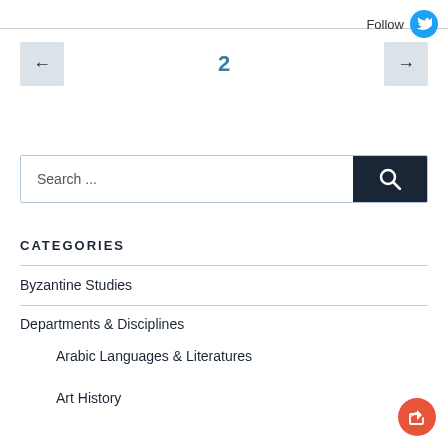Follow
2
Search ...
CATEGORIES
Byzantine Studies
Departments & Disciplines
Arabic Languages & Literatures
Art History